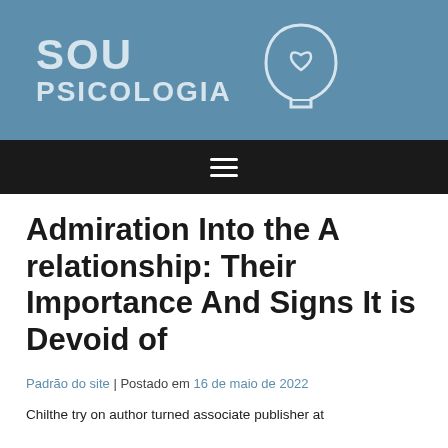[Figure (logo): Sou Psicologia logo with stylized head icon and text SOU PSICOLOGIA on blue background]
≡ (hamburger menu icon)
Admiration Into the A relationship: Their Importance And Signs It is Devoid of
Padrão do site | Postado em 16 de maio de 2022
Chilthe try on author turned associate publisher at